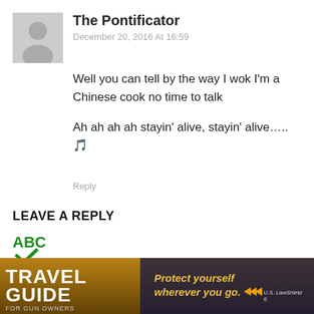[Figure (illustration): Gray avatar placeholder image with a white silhouette of a person]
The Pontificator
December 20, 2016 At 16:59
Well you can tell by the way I wok I'm a Chinese cook no time to talk
Ah ah ah ah stayin' alive, stayin' alive….. 🎵
Reply
LEAVE A REPLY
[Figure (logo): ABC with green checkmark icon for spell check]
Comment:
[Figure (photo): Travel Guide for Gun Owners advertisement banner with text Protect yourself wherever you go and US LawShield branding]